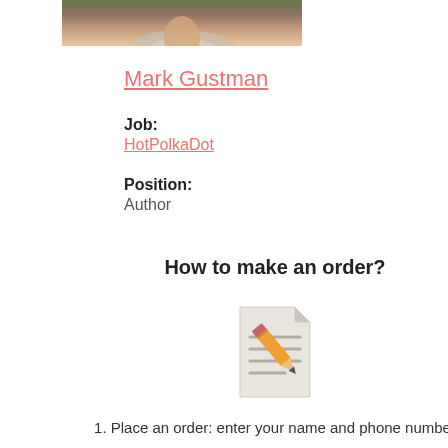[Figure (photo): Cropped photo of a person (Mark Gustman) showing shoulders and head area, partially visible at top of page]
Mark Gustman
Job:
HotPolkaDot
Position:
Author
How to make an order?
[Figure (illustration): Document/notepad icon with a pencil, representing filling out a form]
1. Place an order: enter your name and phone number
[Figure (illustration): Circular icon partially visible at bottom, dark colored with figure inside]